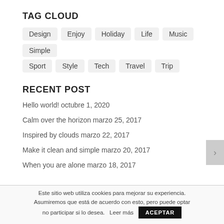TAG CLOUD
Design
Enjoy
Holiday
Life
Music
Simple
Sport
Style
Tech
Travel
Trip
RECENT POST
Hello world! octubre 1, 2020
Calm over the horizon marzo 25, 2017
Inspired by clouds marzo 22, 2017
Make it clean and simple marzo 20, 2017
When you are alone marzo 18, 2017
Este sitio web utiliza cookies para mejorar su experiencia. Asumiremos que está de acuerdo con esto, pero puede optar no participar si lo desea.   Leer más   ACEPTAR